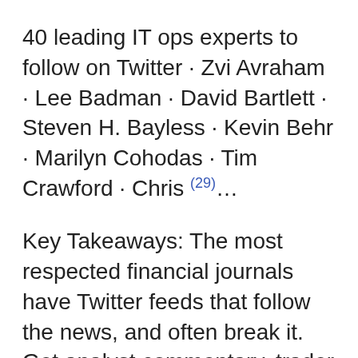40 leading IT ops experts to follow on Twitter · Zvi Avraham · Lee Badman · David Bartlett · Steven H. Bayless · Kevin Behr · Marilyn Cohodas · Tim Crawford · Chris (29)...
Key Takeaways: The most respected financial journals have Twitter feeds that follow the news, and often break it. Get analyst commentary, trader chat, (30)...
Do you have any favourite scientists that you follow on Twitter? We love and...